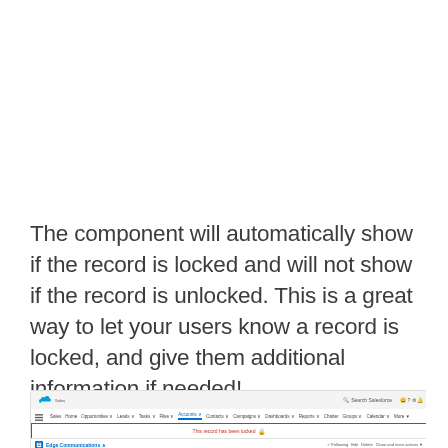The component will automatically show if the record is locked and will not show if the record is unlocked. This is a great way to let your users know a record is locked, and give them additional information if needed!
[Figure (screenshot): Salesforce UI screenshot showing a navigation bar with Sales app, account navigation tabs including Accounts highlighted, and a blue-bordered banner reading 'This record has been locked' with a lock icon, and below that an account record for 'Edge Communications'.]